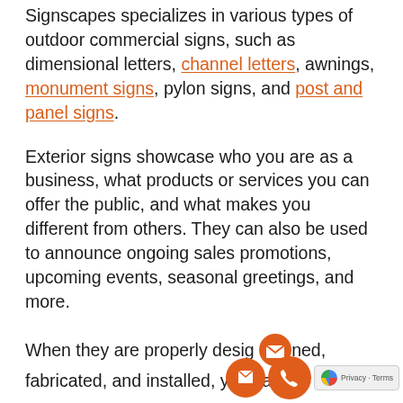Signscapes specializes in various types of outdoor commercial signs, such as dimensional letters, channel letters, awnings, monument signs, pylon signs, and post and panel signs.
Exterior signs showcase who you are as a business, what products or services you can offer the public, and what makes you different from others. They can also be used to announce ongoing sales promotions, upcoming events, seasonal greetings, and more.
When they are properly designed, fabricated, and installed, you can